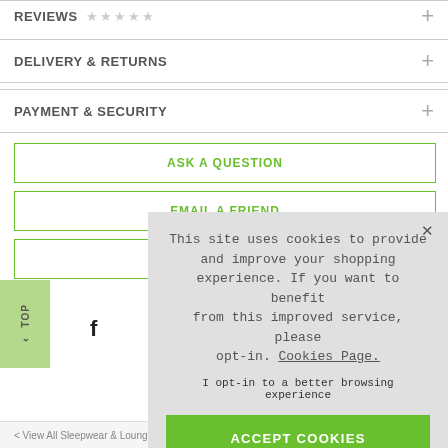REVIEWS ★ ★ ★ ★ ★
DELIVERY & RETURNS
PAYMENT & SECURITY
ASK A QUESTION
EMAIL A FRIEND
This site uses cookies to provide and improve your shopping experience. If you want to benefit from this improved service, please opt-in. Cookies Page.

I opt-in to a better browsing experience

ACCEPT COOKIES
< View All Sleepwear & Loungewear